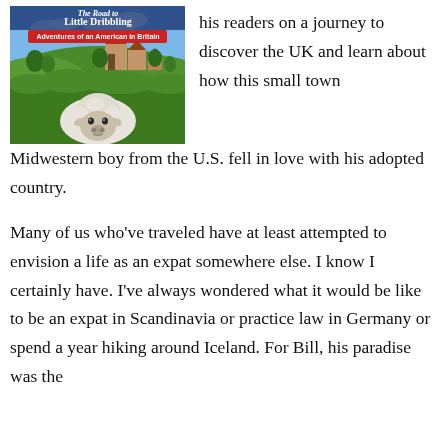[Figure (photo): Book cover of 'The Road to Little Dribbling: Adventures of an American in Britain' showing a sheep in the foreground with a countryside village scene in the background.]
his readers on a journey to discover the UK and learn about how this small town Midwestern boy from the U.S. fell in love with his adopted country.

Many of us who've traveled have at least attempted to envision a life as an expat somewhere else. I know I certainly have. I've always wondered what it would be like to be an expat in Scandinavia or practice law in Germany or spend a year hiking around Iceland. For Bill, his paradise was the
his readers on a journey to discover the UK and learn about how this small town Midwestern boy from the U.S. fell in love with his adopted country.
Many of us who've traveled have at least attempted to envision a life as an expat somewhere else. I know I certainly have. I've always wondered what it would be like to be an expat in Scandinavia or practice law in Germany or spend a year hiking around Iceland. For Bill, his paradise was the